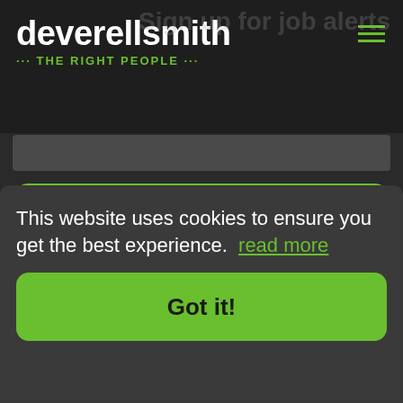deverellsmith · THE RIGHT PEOPLE ···
Sign up for job alerts
Create alert
You agree to our Terms & conditions
Latest Jobs
This website uses cookies to ensure you get the best experience. read more
Got it!